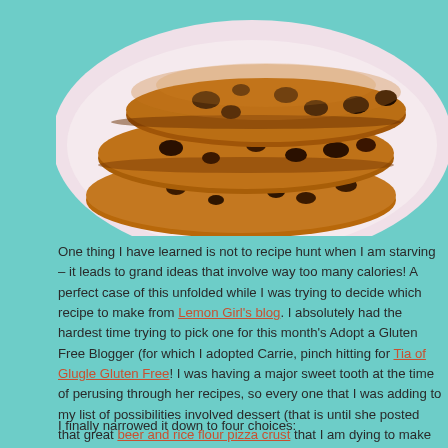[Figure (photo): Stack of three chocolate chip cookies on a white plate, photographed close-up from above.]
One thing I have learned is not to recipe hunt when I am starving – it leads to grand ideas that involve way too many calories! A perfect case of this unfolded while I was trying to decide which recipe to make from Lemon Girl's blog. I absolutely had the hardest time trying to pick one for this month's Adopt a Gluten Free Blogger (for which I adopted Carrie, pinch hitting for Tia of Glugle Gluten Free! I was having a major sweet tooth at the time of perusing through her recipes, so every one that I was adding to my list of possibilities involved dessert (that is until she posted that great beer and rice flour pizza crust that I am dying to make now).
I finally narrowed it down to four choices: